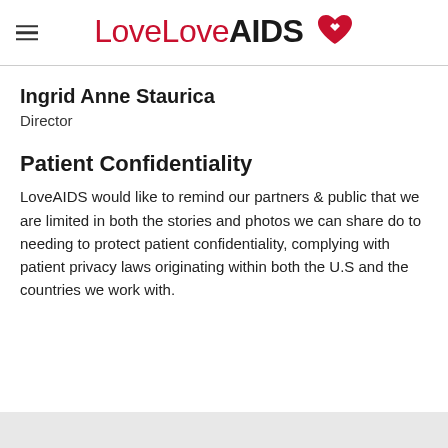LoveAIDS
Ingrid Anne Staurica
Director
Patient Confidentiality
LoveAIDS would like to remind our partners & public that we are limited in both the stories and photos we can share do to needing to protect patient confidentiality, complying with patient privacy laws originating within both the U.S and the countries we work with.